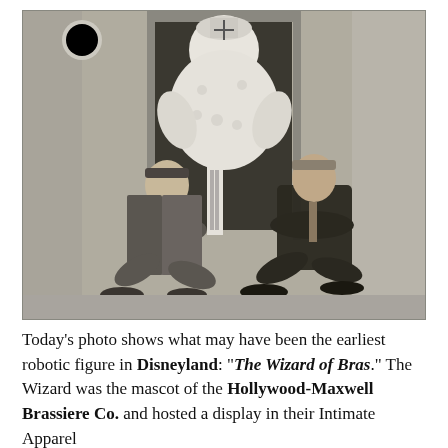[Figure (photo): Black and white photograph showing three people near a building entrance. A costumed robotic or puppet figure in white fluffy costume stands in a doorway at the back. In the foreground, two men in suits crouch down on either side, examining or interacting with the figure. The setting appears to be an exterior building facade with white walls.]
Today's photo shows what may have been the earliest robotic figure in Disneyland: "The Wizard of Bras." The Wizard was the mascot of the Hollywood-Maxwell Brassiere Co. and hosted a display in their Intimate Apparel